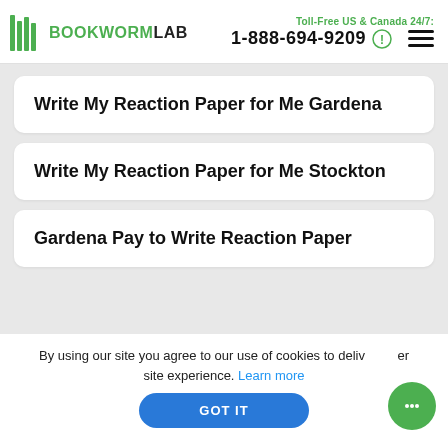BOOKWORMLAB | Toll-Free US & Canada 24/7: 1-888-694-9209
Write My Reaction Paper for Me Gardena
Write My Reaction Paper for Me Stockton
Gardena Pay to Write Reaction Paper
By using our site you agree to our use of cookies to deliver a better site experience. Learn more
GOT IT